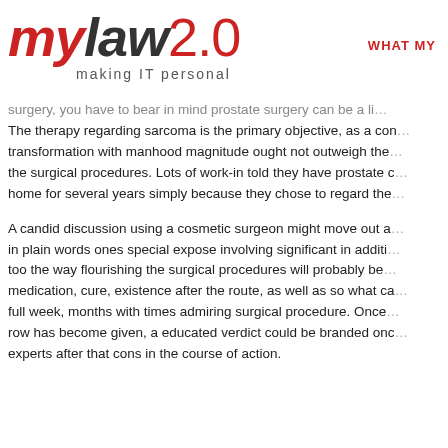[Figure (logo): mylaw2.0 logo with tagline 'making IT personal']
WHAT MY
surgery, you have to bear in mind prostate surgery can be a li... The therapy regarding sarcoma is the primary objective, as a con... transformation with manhood magnitude ought not outweigh the... the surgical procedures. Lots of work-in told they have prostate c... home for several years simply because they chose to regard the...
A candid discussion using a cosmetic surgeon might move out a... in plain words ones special expose involving significant in additi... too the way flourishing the surgical procedures will probably be... medication, cure, existence after the route, as well as so what ca... full week, months with times admiring surgical procedure. Once... row has become given, a educated verdict could be branded onc... experts after that cons in the course of action.